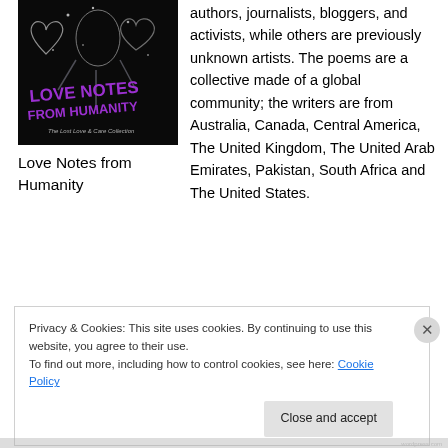[Figure (photo): Book cover of 'Love Notes from Humanity: The Lost Love & Care Collection' showing a figure with heart shapes and sparkly design on dark background with purple text]
Love Notes from Humanity
authors, journalists, bloggers, and activists, while others are previously unknown artists. The poems are a collective made of a global community; the writers are from Australia, Canada, Central America, The United Kingdom, The United Arab Emirates, Pakistan, South Africa and The United States.
Privacy & Cookies: This site uses cookies. By continuing to use this website, you agree to their use.
To find out more, including how to control cookies, see here: Cookie Policy
Close and accept